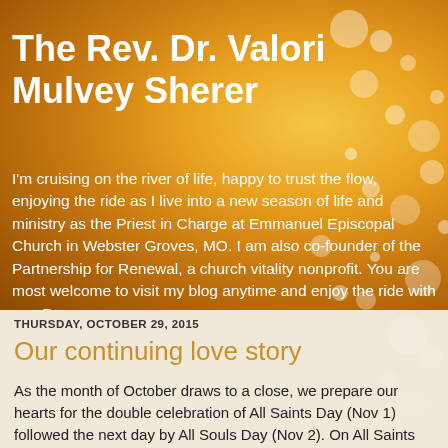The Rev. Dr. Valori Mulvey Sherer
I'm cruising on the river of life, happy to trust the flow, enjoying the ride as I live into a new season of life and ministry as the Priest in Charge at Emmanuel Episcopal Church in Webster Groves, MO. I am also co-founder of the Partnership for Renewal, a church vitality nonprofit. You are most welcome to visit my blog anytime and enjoy the ride with me. Peace.
THURSDAY, OCTOBER 29, 2015
Our continuing love story
As the month of October draws to a close, we prepare our hearts for the double celebration of All Saints Day (Nov 1) followed the next day by All Souls Day (Nov 2). On All Saints